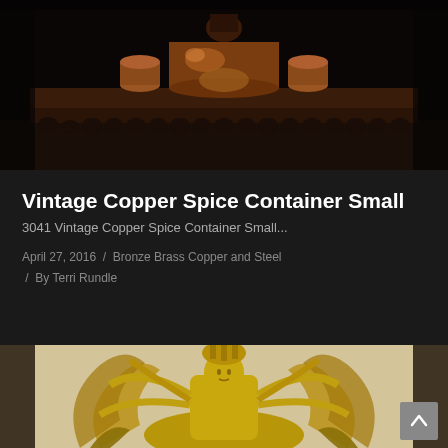[Figure (photo): Dark close-up photo of vintage copper spice containers arranged on a decorative carved wooden shelf. Copper vessels of various sizes visible against dark background.]
Vintage Copper Spice Container Small
3041 Vintage Copper Spice Container Small...
April 27, 2016  /  Bronze Brass Copper and Steel  /  By Terri Rundle
[Figure (photo): Photo of a large golden multi-armed Buddhist deity statue (Guanyin/Avalokitesvara) with ornate crown and flaming halo, photographed against a light beige wall.]